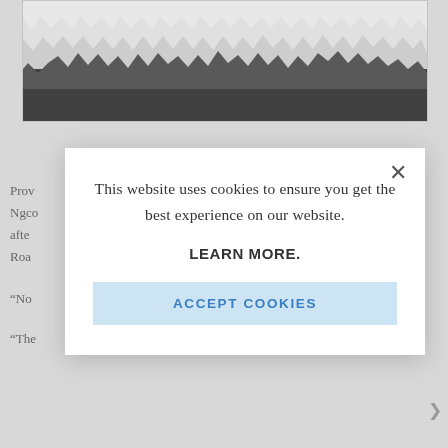[Figure (photo): Black and white photo of torn paper edge — white/grey torn paper on top, solid black band below, on a light grey background]
Prov
Ngco
afte
Roa

“No

“The
This website uses cookies to ensure you get the best experience on our website.

LEARN MORE.

ACCEPT COOKIES